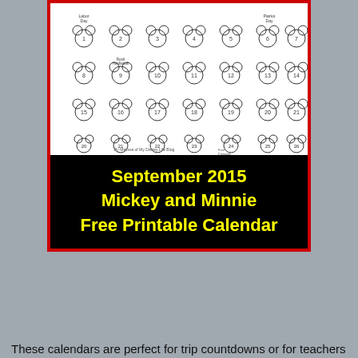[Figure (other): September 2015 Mickey and Minnie Free Printable Calendar image with a white calendar grid showing Mickey Mouse head icons for each day, surrounded by a red border, and a black banner with yellow text reading 'September 2015 Mickey and Minnie Free Printable Calendar']
These calendars are perfect for trip countdowns or for teachers and Disney themed classrooms.  They're also perfect for training calendars for runDisney events!
Feel free to link this post up to Pinterest or Facebook so your friends and family can have a fun Mickey and Minnie calendar too!  Let's spread the Disney Magic!!!  °o°
Note: I've made calendars through 2016.  I don't post the PDF links on my blog until the beginning of each month.  If you're looking for a particular month and would like me to email it to you ahead of my post going live, you can send my